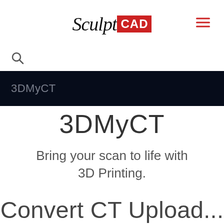[Figure (logo): SculptCAD logo with handwritten 'Sculpt' text and red box 'CAD' label, plus hamburger menu icon in red on the right]
[Figure (other): Search magnifying glass icon]
3DMyCT
3DMyCT
Bring your scan to life with 3D Printing.
Convert CT Upload...